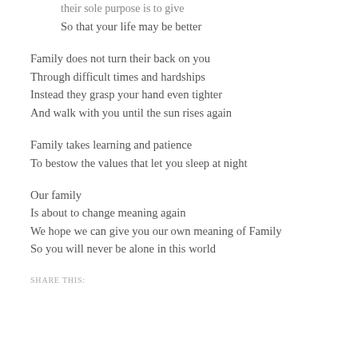their sole purpose is to give
So that your life may be better
Family does not turn their back on you
Through difficult times and hardships
Instead they grasp your hand even tighter
And walk with you until the sun rises again
Family takes learning and patience
To bestow the values that let you sleep at night
Our family
Is about to change meaning again
We hope we can give you our own meaning of Family
So you will never be alone in this world
SHARE THIS: